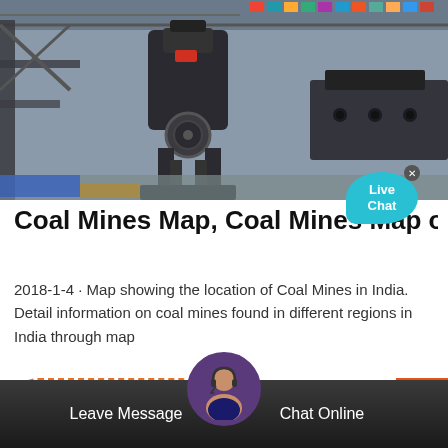[Figure (photo): Industrial mining/crushing machinery equipment displayed in a large hall with international flags in the background]
Coal Mines Map, Coal Mines Map of India
2018-1-4 · Map showing the location of Coal Mines in India. Detail information on coal mines found in different regions in India through map
Read More
Leave Message   Chat Online